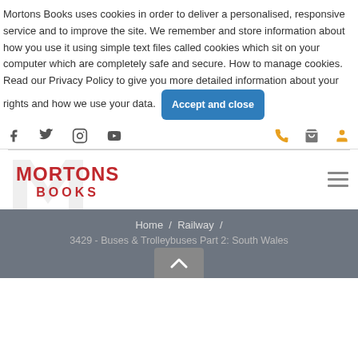Mortons Books uses cookies in order to deliver a personalised, responsive service and to improve the site. We remember and store information about how you use it using simple text files called cookies which sit on your computer which are completely safe and secure. How to manage cookies.
Read our Privacy Policy to give you more detailed information about your rights and how we use your data.
Accept and close
[Figure (infographic): Social media icons: Facebook, Twitter, Instagram, YouTube; utility icons: phone (orange), cart (grey), user (orange)]
[Figure (logo): Mortons Books logo with a grey M background watermark and red text reading MORTONS BOOKS]
Home / Railway / 3429 - Buses & Trolleybuses Part 2: South Wales